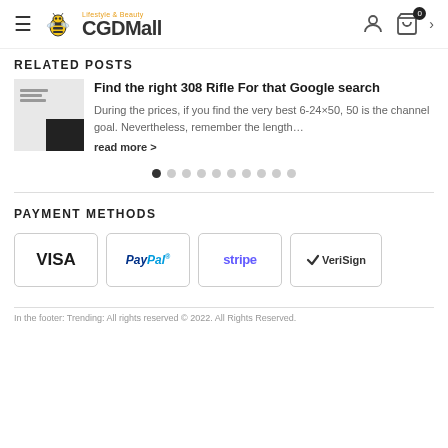CGDMall - Lifestyle & Beauty
RELATED POSTS
Find the right 308 Rifle For that Google search
During the prices, if you find the very best 6-24×50, 50 is the channel goal. Nevertheless, remember the length…
read more >
PAYMENT METHODS
[Figure (logo): Payment method logos: VISA, PayPal, stripe, VeriSign]
In the footer: Trending: All rights reserved © 2022. All Rights Reserved.